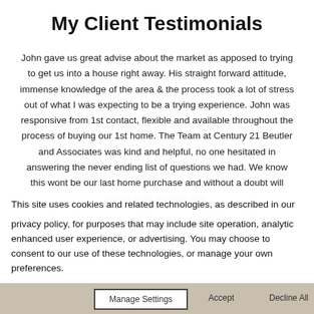My Client Testimonials
John gave us great advise about the market as apposed to trying to get us into a house right away. His straight forward attitude, immense knowledge of the area & the process took a lot of stress out of what I was expecting to be a trying experience. John was responsive from 1st contact, flexible and available throughout the process of buying our 1st home. The Team at Century 21 Beutler and Associates was kind and helpful, no one hesitated in answering the never ending list of questions we had. We know this wont be our last home purchase and without a doubt will come back to work with
This site uses cookies and related technologies, as described in our privacy policy, for purposes that may include site operation, analytics, enhanced user experience, or advertising. You may choose to consent to our use of these technologies, or manage your own preferences.